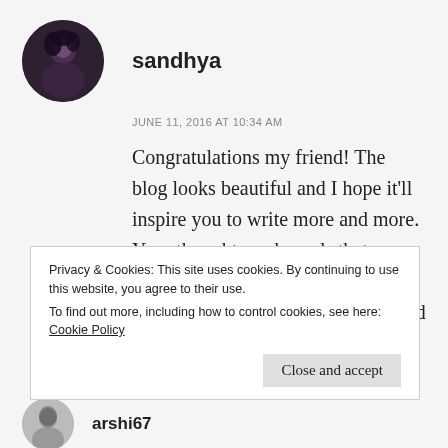[Figure (photo): Circular avatar photo of a person with dark hair against dark background]
sandhya
JUNE 11, 2016 AT 10:34 AM
Congratulations my friend! The blog looks beautiful and I hope it’ll inspire you to write more and more. Your thoughts and words that were screaming for an outlet have one such space now. Keep writing. Good luck 😃
★ Liked by 3 people
Privacy & Cookies: This site uses cookies. By continuing to use this website, you agree to their use.
To find out more, including how to control cookies, see here: Cookie Policy
Close and accept
[Figure (photo): Partial circular avatar photo of next commenter]
arshi67